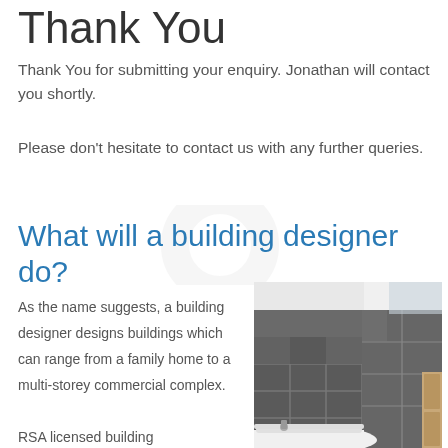Thank You
Thank You for submitting your enquiry. Jonathan will contact you shortly.
Please don't hesitate to contact us with any further queries.
What will a building designer do?
As the name suggests, a building designer designs buildings which can range from a family home to a multi-storey commercial complex.
[Figure (photo): Interior photo of a modern bathroom with large dark grey tiles on the wall and a white bathtub in the corner.]
RSA licensed building